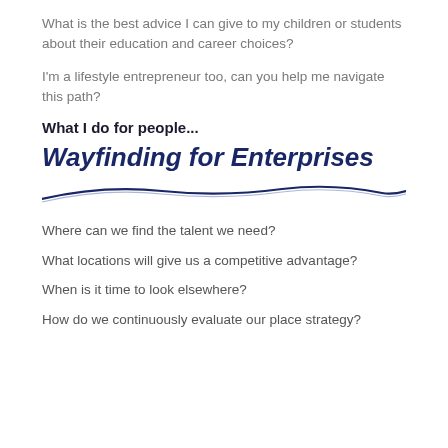What is the best advice I can give to my children or students about their education and career choices?
I'm a lifestyle entrepreneur too, can you help me navigate this path?
What I do for people...
Wayfinding for Enterprises
[Figure (illustration): A decorative curved line divider in dark navy and muted blue-purple, sweeping across the page width]
Where can we find the talent we need?
What locations will give us a competitive advantage?
When is it time to look elsewhere?
How do we continuously evaluate our place strategy?